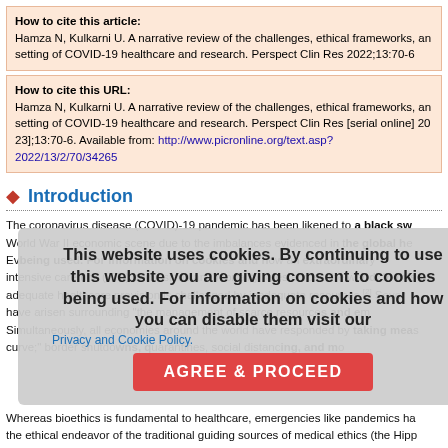How to cite this article:
Hamza N, Kulkarni U. A narrative review of the challenges, ethical frameworks, and setting of COVID-19 healthcare and research. Perspect Clin Res 2022;13:70-6
How to cite this URL:
Hamza N, Kulkarni U. A narrative review of the challenges, ethical frameworks, and setting of COVID-19 healthcare and research. Perspect Clin Res [serial online] 2022 [cited 2022 Jan 23];13:70-6. Available from: http://www.picronline.org/text.asp?2022/13/2/70/34265
Introduction
The coronavirus disease (COVID)-19 pandemic has been likened to a black sw... World War II economic scene due to the imbalances evidenced in the global he... Ev...being used. For information on cookies and how an extraordinar... intensive care unit (ICU) admissions and mortality rates across the world. In this ex... adequate healthcare provision is challenged by inadequate resources.[2] Sever... have arisen surrounding "the management of scarce resources and em... Simultaneously, all economies around the world have responded by taking meas... curve;" border shutdowns, quarantines, social distancing, and mo...
Whereas bioethics is fundamental to healthcare, emergencies like pandemics ha... the ethical endeavor of the traditional guiding sources of medical ethics (the Hipp...